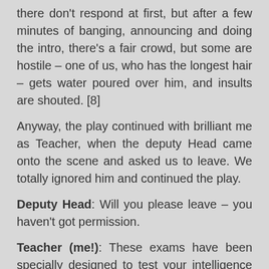there don't respond at first, but after a few minutes of banging, announcing and doing the intro, there's a fair crowd, but some are hostile – one of us, who has the longest hair – gets water poured over him, and insults are shouted. [8]
Anyway, the play continued with brilliant me as Teacher, when the deputy Head came onto the scene and asked us to leave. We totally ignored him and continued the play.
Deputy Head: Will you please leave – you haven't got permission.
Teacher (me!): These exams have been specially designed to test your intelligence and ability. Your whole future, your entire livelihood will depend on the next 3 hours.